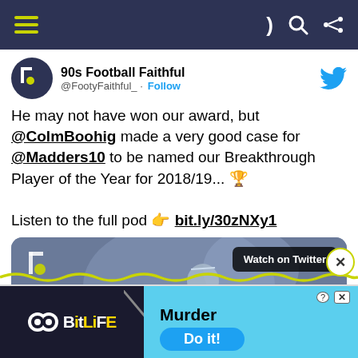Navigation bar with hamburger menu, dark/light toggle, search, and share icons
90s Football Faithful @FootyFaithful_ · Follow
He may not have won our award, but @ColmBoohig made a very good case for @Madders10 to be named our Breakthrough Player of the Year for 2018/19... 🏆

Listen to the full pod 👉 bit.ly/30zNXy1
[Figure (screenshot): Video thumbnail showing a football player with the 90s Football Faithful logo and 'Watch on Twitter' badge overlay]
[Figure (logo): BitLife advertisement banner with 'Murder - Do it!' call to action]